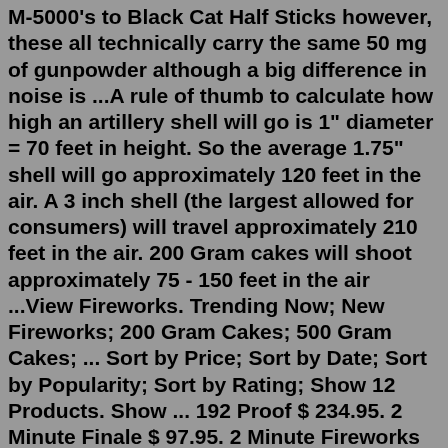M-5000's to Black Cat Half Sticks however, these all technically carry the same 50 mg of gunpowder although a big difference in noise is ...A rule of thumb to calculate how high an artillery shell will go is 1" diameter = 70 feet in height. So the average 1.75" shell will go approximately 120 feet in the air. A 3 inch shell (the largest allowed for consumers) will travel approximately 210 feet in the air. 200 Gram cakes will shoot approximately 75 - 150 feet in the air ...View Fireworks. Trending Now; New Fireworks; 200 Gram Cakes; 500 Gram Cakes; ... Sort by Price; Sort by Date; Sort by Popularity; Sort by Rating; Show 12 Products. Show ... 192 Proof $ 234.95. 2 Minute Finale $ 97.95. 2 Minute Fireworks Barrage $ 97.95. 600s Universe Series $ 319.95. 750 Shot Saturn $ 129.95. Addicted to Loud $ 184.95. Amazing ...We are located off of 80/94 Exit 2 Indianapolis Blvd. Feel free to locate directions here. Shop us first! Anywhere that has "Buy One Get One" is much more expensive when you break down the per item price. For example an Excalibur Shell Kit at Big Daddy K's is only